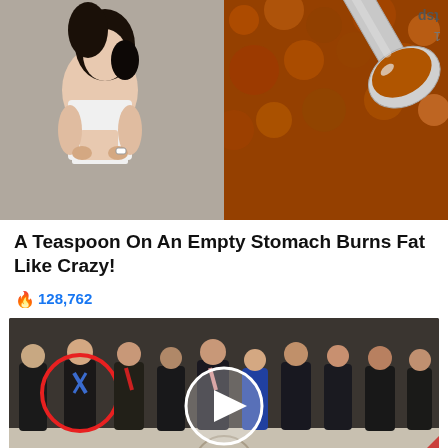[Figure (photo): Two side-by-side photos: left shows a fit woman in a white tank top lifting her shirt to show toned abs; right shows a metal teaspoon filled with reddish-orange spice/powder on a dark background]
A Teaspoon On An Empty Stomach Burns Fat Like Crazy!
🔥 128,762
[Figure (photo): A group of people in formal attire standing in what appears to be a CIA or intelligence agency lobby with the word INTELLIGENCE visible on the floor. One person is circled in red. A video play button overlay is in the center.]